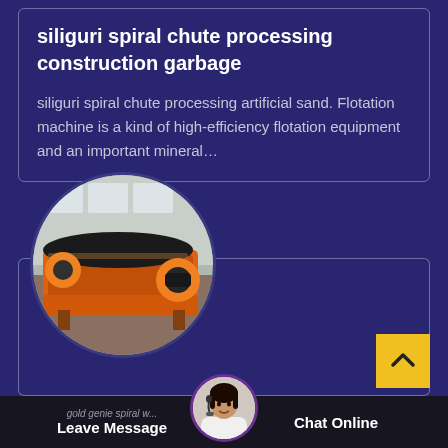siliguri spiral chute processing construction garbage
siliguri spiral chute processing artificial sand. Flotation machine is a kind of high-efficiency flotation equipment and an important mineral…
[Figure (photo): Orange industrial spiral chute / flotation machine equipment shown in a circular cropped photo, set against a dark purple background card.]
gold genie spiral w...
Leave Message
Chat Online